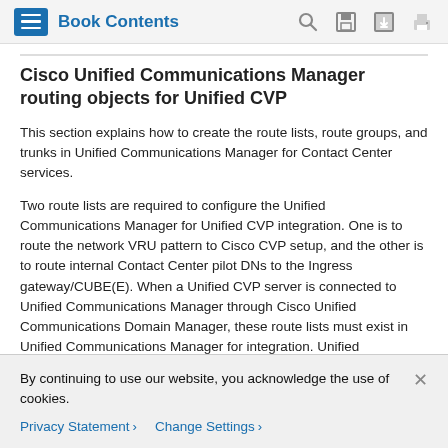Book Contents
Cisco Unified Communications Manager routing objects for Unified CVP
This section explains how to create the route lists, route groups, and trunks in Unified Communications Manager for Contact Center services.
Two route lists are required to configure the Unified Communications Manager for Unified CVP integration. One is to route the network VRU pattern to Cisco CVP setup, and the other is to route internal Contact Center pilot DNs to the Ingress gateway/CUBE(E). When a Unified CVP server is connected to Unified Communications Manager through Cisco Unified Communications Domain Manager, these route lists must exist in Unified Communications Manager for integration. Unified Communications Domain Manager identifies each route list by
By continuing to use our website, you acknowledge the use of cookies.
Privacy Statement >  Change Settings >